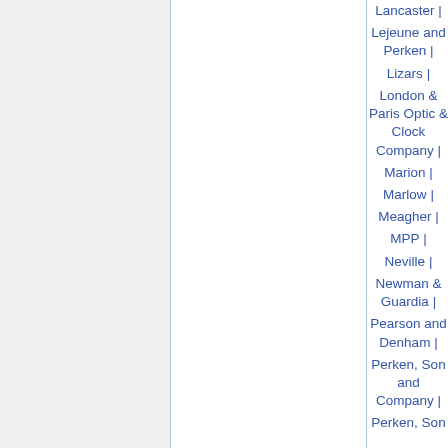Lancaster |
Lejeune and Perken |
Lizars |
London & Paris Optic & Clock Company |
Marion |
Marlow |
Meagher |
MPP |
Neville |
Newman & Guardia |
Pearson and Denham |
Perken, Son and Company |
Perken, Son